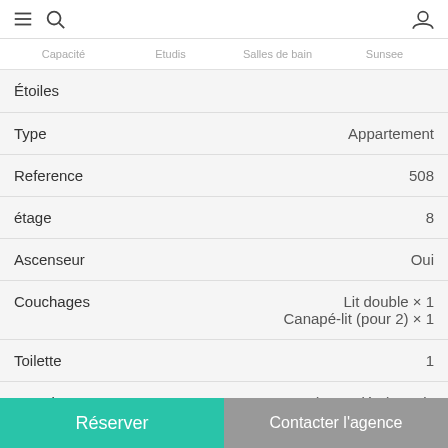Navigation bar with menu, search, and profile icons
Capacité   Etudis   Salles de bain   Sunsee
Étoiles
| Property | Value |
| --- | --- |
| Type | Appartement |
| Reference | 508 |
| étage | 8 |
| Ascenseur | Oui |
| Couchages | Lit double × 1
Canapé-lit (pour 2) × 1 |
| Toilette | 1 |
| Quartier | 16 arr (Trocadéro), Paris |
Réserver
Contacter l'agence